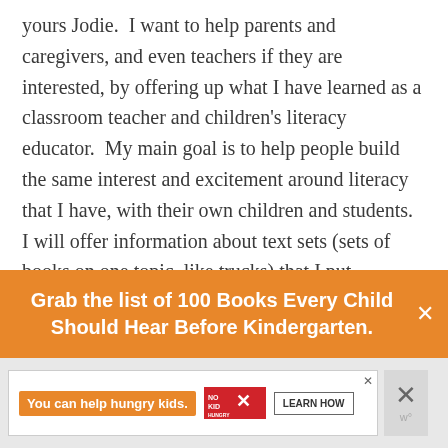yours Jodie.  I want to help parents and caregivers, and even teachers if they are interested, by offering up what I have learned as a classroom teacher and children's literacy educator.  My main goal is to help people build the same interest and excitement around literacy that I have, with their own children and students.  I will offer information about text sets (sets of books on one topic, like trucks) that I put together, reviews of books, and activity ideas for those books.  I'm excited about it, and am enjoying learning something new even though the technology part does not come easily to me.
Grab the list of 100 Books Every Child Should Hear Before Kindergarten.
[Figure (other): Advertisement banner: 'You can help hungry kids.' with No Kid Hungry logo and Learn How button]